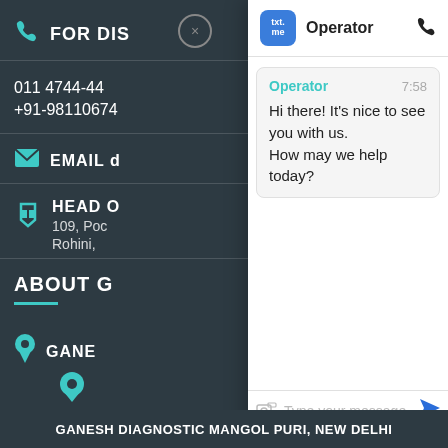[Figure (screenshot): Background website contact page with dark teal/grey background showing phone icon with 'FOR DIS' text, phone numbers '011 4744-44' and '+91-98110674', email icon with 'EMAIL d', map icon with 'HEAD O' and address '109, Poc' and 'Rohini,', 'ABOUT G' heading, pin icon with 'GANE' text]
[Figure (screenshot): Chat widget overlay from txt.me showing header with blue txt.me logo and 'Operator' label and phone icon, message bubble from Operator at 7:58 saying 'Hi there! It's nice to see you with us. How may we help today?', text input bar with 'Type your message' placeholder, camera and attachment icons, send arrow button, and 'Powered by txt.me' footer]
FOR DIS
011 4744-44
+91-98110674
EMAIL d
HEAD O
109, Poc
Rohini,
ABOUT G
GANE
Operator
Hi there! It's nice to see you with us.
How may we help today?
Type your message
Powered by txt.me
GANESH DIAGNOSTIC MANGOL PURI, NEW DELHI